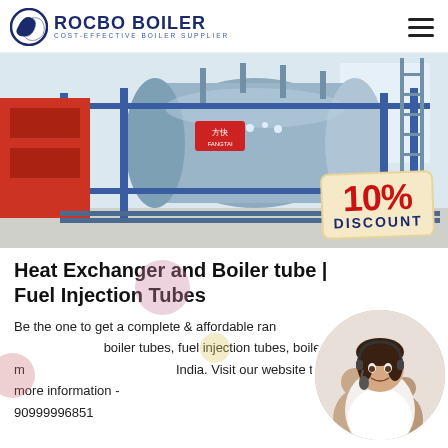ROCBO BOILER — COST-EFFECTIVE BOILER SUPPLIER
[Figure (photo): Industrial boiler facility showing large cylindrical boiler tanks in blue, with red burner components and piping. A 10% DISCOUNT badge is overlaid on the bottom right of the image.]
Heat Exchanger and Boiler tube | Fuel Injection Tubes
Be the one to get a complete & affordable range of heat exchanger and boiler tubes, fuel injection tubes, boiler tubes manufacturer, supplier from India. Visit our website to know more information. 90999996851